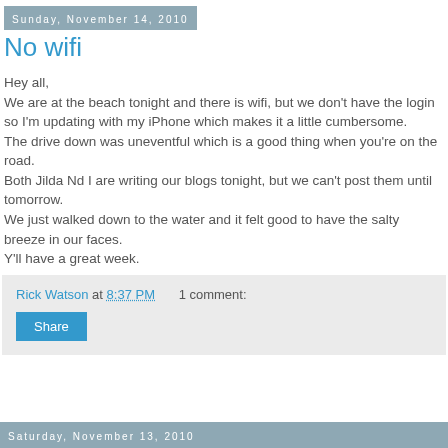Sunday, November 14, 2010
No wifi
Hey all,
We are at the beach tonight and there is wifi, but we don't have the login so I'm updating with my iPhone which makes it a little cumbersome.
The drive down was uneventful which is a good thing when you're on the road.
Both Jilda Nd I are writing our blogs tonight, but we can't post them until tomorrow.
We just walked down to the water and it felt good to have the salty breeze in our faces.
Y'll have a great week.
Rick Watson at 8:37 PM    1 comment:
Share
Saturday, November 13, 2010